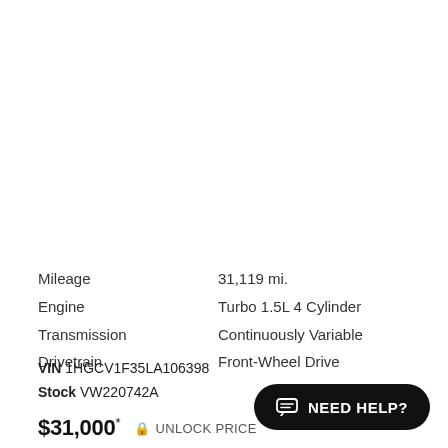| Label | Value |
| --- | --- |
| Mileage | 31,119 mi. |
| Engine | Turbo 1.5L 4 Cylinder |
| Transmission | Continuously Variable |
| Drivetrain | Front-Wheel Drive |
VIN 1HGCV1F35LA106398
Stock VW220742A
$31,000* 🔒 UNLOCK PRICE
NEED HELP?